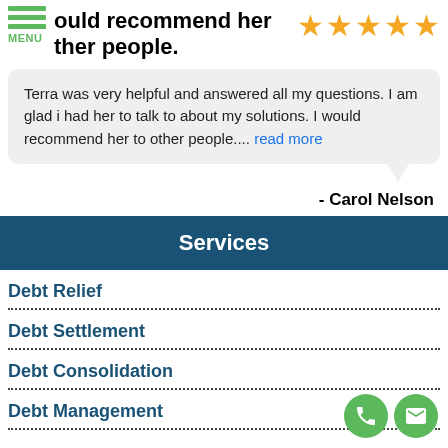ould recommend her to other people.
[Figure (illustration): Five gold star rating icons]
Terra was very helpful and answered all my questions. I am glad i had her to talk to about my solutions. I would recommend her to other people.... read more
- Carol Nelson
Services
Debt Relief
Debt Settlement
Debt Consolidation
Debt Management